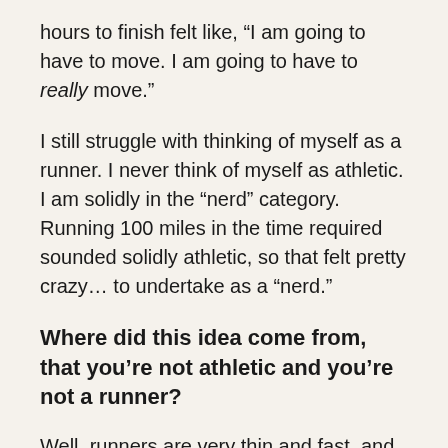hours to finish felt like, “I am going to have to move. I am going to have to really move.”
I still struggle with thinking of myself as a runner. I never think of myself as athletic. I am solidly in the “nerd” category. Running 100 miles in the time required sounded solidly athletic, so that felt pretty crazy… to undertake as a “nerd.”
Where did this idea come from, that you’re not athletic and you’re not a runner?
Well, runners are very thin and fast, and they have very strong legs. They don’t complain about having to get up early in the morning for a run. They don’t want to quit for the first half to three miles of a run. During a 14 mile